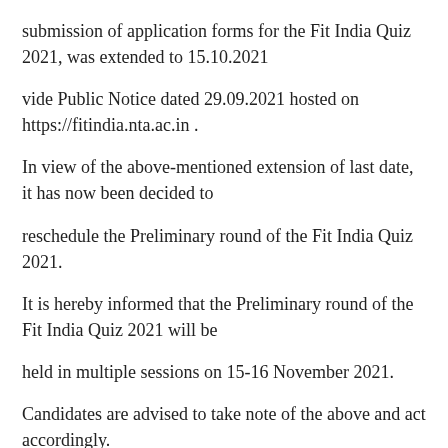submission of application forms for the Fit India Quiz 2021, was extended to 15.10.2021
vide Public Notice dated 29.09.2021 hosted on https://fitindia.nta.ac.in .
In view of the above-mentioned extension of last date, it has now been decided to
reschedule the Preliminary round of the Fit India Quiz 2021.
It is hereby informed that the Preliminary round of the Fit India Quiz 2021 will be
held in multiple sessions on 15-16 November 2021.
Candidates are advised to take note of the above and act accordingly.
The date, timing and other modalities of participating in the online test will be
communicated to the candidates vide their Admit Card which will be hosted on the above